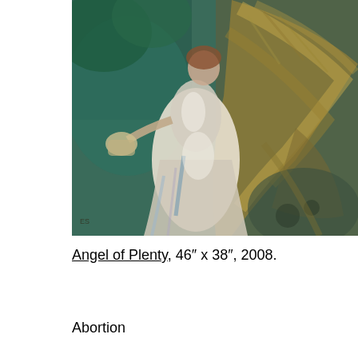[Figure (illustration): An impressionistic oil painting of a woman in a flowing white dress, appearing to be an angel or allegorical figure of plenty, with large feathered wings in golden-brown tones and a green/teal background. She holds a basket or vessel and is depicted in motion. Artist initials visible at lower left.]
Angel of Plenty, 46" x 38", 2008.
Abortion